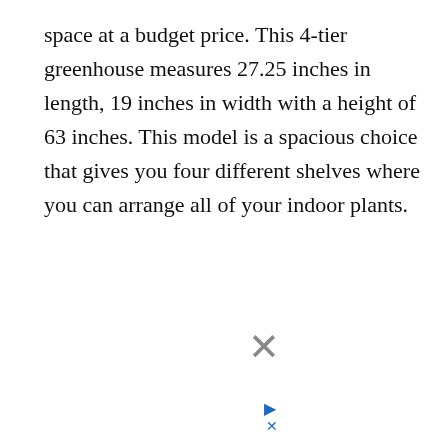space at a budget price. This 4-tier greenhouse measures 27.25 inches in length, 19 inches in width with a height of 63 inches. This model is a spacious choice that gives you four different shelves where you can arrange all of your indoor plants.
[Figure (screenshot): Video player overlay showing 'No compatible source was found for this media.' with a blurred background image. Below is an advertisement overlay for Garage Door Sales, Installation & 24-Hour Same-Day Repairs. An X close button and play/dismiss controls are visible.]